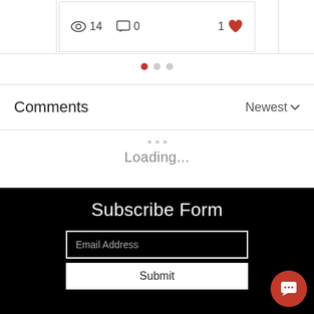[Figure (screenshot): Blog post card stats row showing eye icon with 14 views, comment icon with 0 comments, and heart icon with 1 like]
[Figure (other): Carousel navigation dots: three dots with the first one active (red)]
Comments
Newest ∨
Loading...
Subscribe Form
Email Address
Submit
[Figure (other): Red circular chat/message button in bottom right corner]